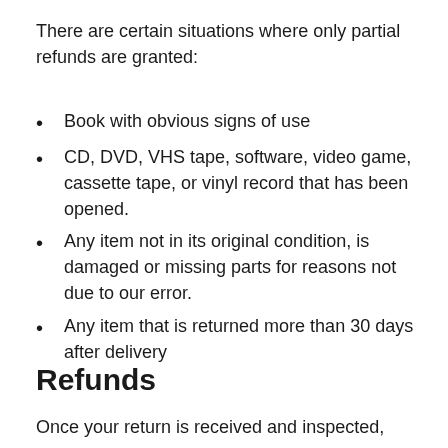There are certain situations where only partial refunds are granted:
Book with obvious signs of use
CD, DVD, VHS tape, software, video game, cassette tape, or vinyl record that has been opened.
Any item not in its original condition, is damaged or missing parts for reasons not due to our error.
Any item that is returned more than 30 days after delivery
Refunds
Once your return is received and inspected,